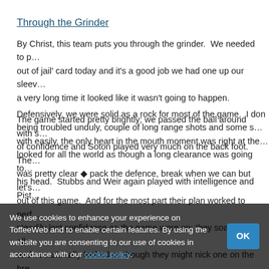Through the Grinder
By Christ, this team puts you through the grinder.  We needed to play our 'get out of jail' card today and it's a good job we had one up our sleeve, because for a very long time it looked like it wasn't going to happen.
The game started pretty brightly; we passed the ball around with s… of confidence and Soton played very much on the back foot.  The… was pretty clear ◆ pack the defence, break when we can but let's… out of this game.  And for the most part their plan worked to perf… steadily lost confidence as the game wore on; they soaked up all… and occasionally looked as though they might nick one on the bre… set piece.  Indeed, with ten minutes to go they looked the more li… we looked as though we could play for another couple of hours a… score.  The fact that we did, with only minutes to go, makes up fo… undeserved defeat by Spurs the other week.
Defensively, we were solid as a rock for most of the game.  I don… being troubled unduly, couple of long range shots and some s… with easily, the only heart in the mouth moment was right at the… looked for all the world as though a long clearance was going to… his head.  Stubbs and Weir again played with intelligence and Pist…
We use cookies to enhance your experience on ToffeeWeb and to enable certain features. By using the website you are consenting to our use of cookies in accordance with our cookie policy.